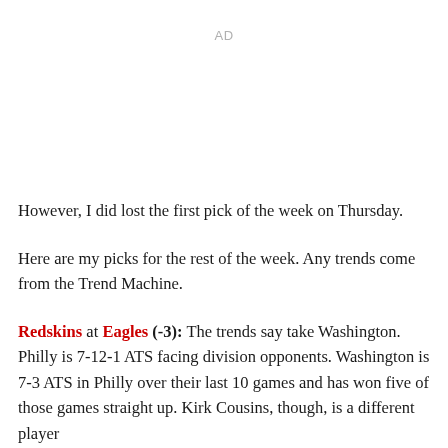AD
However, I did lost the first pick of the week on Thursday.
Here are my picks for the rest of the week. Any trends come from the Trend Machine.
Redskins at Eagles (-3): The trends say take Washington. Philly is 7-12-1 ATS facing division opponents. Washington is 7-3 ATS in Philly over their last 10 games and has won five of those games straight up. Kirk Cousins, though, is a different player